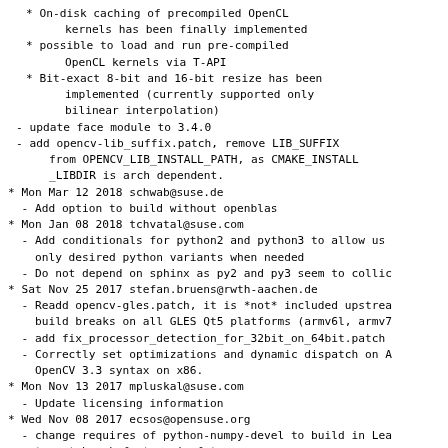* On-disk caching of precompiled OpenCL kernels has been finally implemented
* possible to load and run pre-compiled OpenCL kernels via T-API
* Bit-exact 8-bit and 16-bit resize has been implemented (currently supported only bilinear interpolation)
- update face module to 3.4.0
- add opencv-lib_suffix.patch, remove LIB_SUFFIX from OPENCV_LIB_INSTALL_PATH, as CMAKE_INSTALL _LIBDIR is arch dependent.
* Mon Mar 12 2018 schwab@suse.de
  - Add option to build without openblas
* Mon Jan 08 2018 tchvatal@suse.com
  - Add conditionals for python2 and python3 to allow us only desired python variants when needed
  - Do not depend on sphinx as py2 and py3 seem to collic
* Sat Nov 25 2017 stefan.bruens@rwth-aachen.de
  - Readd opencv-gles.patch, it is *not* included upstrea build breaks on all GLES Qt5 platforms (armv6l, armv7
  - add fix_processor_detection_for_32bit_on_64bit.patch
  - Correctly set optimizations and dynamic dispatch on A OpenCV 3.3 syntax on x86.
* Mon Nov 13 2017 mpluskal@suse.com
  - Update licensing information
* Wed Nov 08 2017 ecsos@opensuse.org
  - change requires of python-numpy-devel to build in Lea to not break factory in future
* Sat Nov 04 2017 ecsos@opensuse.org
  - fix build error/unresolvable for Leap 42.2 and 42.3